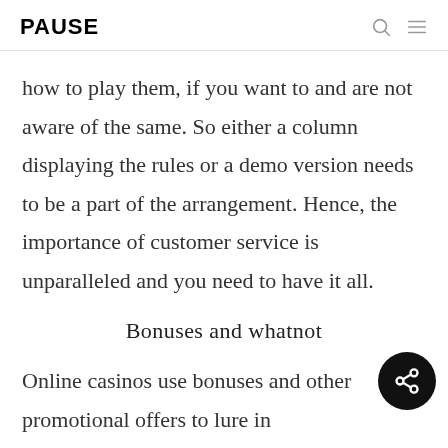PAUSE
how to play them, if you want to and are not aware of the same. So either a column displaying the rules or a demo version needs to be a part of the arrangement. Hence, the importance of customer service is unparalleled and you need to have it all.
Bonuses and whatnot
Online casinos use bonuses and other promotional offers to lure in